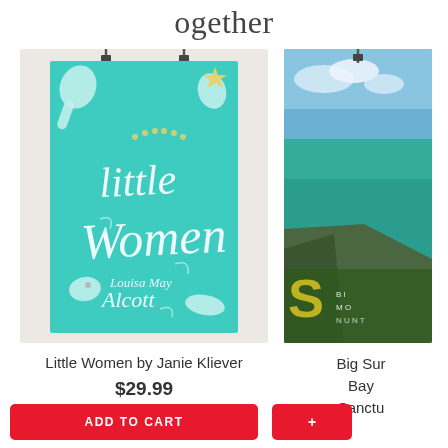Together
[Figure (photo): Book poster for 'Little Women by Louisa May Alcott' designed by Janie Kliever. Teal/turquoise cover with decorative script lettering and stylized white hands holding elements. Pinned with binder clips on a light background.]
Little Women by Janie Kliever
$29.99
[Figure (photo): Partially visible book poster showing Big Sur Bay Sanctuary with aerial ocean and cliffside photography.]
Big Sur Bay Sanctu
ADD TO CART